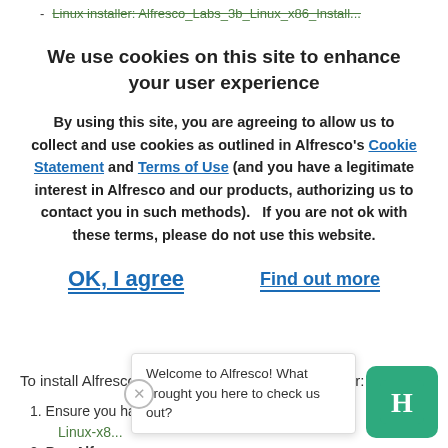Linux installer: Alfresco_Labs_3b_Linux_x86_Install...
We use cookies on this site to enhance your user experience
By using this site, you are agreeing to allow us to collect and use cookies as outlined in Alfresco's Cookie Statement and Terms of Use (and you have a legitimate interest in Alfresco and our products, authorizing us to contact you in such methods).   If you are not ok with these terms, please do not use this website.
OK, I agree
Find out more
To install Alfresco Labs 3 B using the Linux installer:
1. Ensure you have downloaded Alfresco_Labs-3b-Linux-x8...
2. Run Alfr...
3. At the Language Selection prompt, select English
Welcome to Alfresco! What brought you here to check us out?